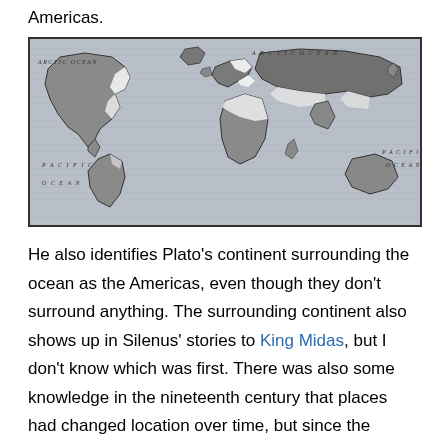Americas.
[Figure (map): Historical black and white world map showing continents with shaded regions, labeled with ARCTIC OCEAN (top left and top right), PACIFIC OCEAN (left and right), indicating ancient continental configurations. The map shows landmasses with white highlighted regions along coastlines/borders.]
He also identifies Plato's continent surrounding the ocean as the Americas, even though they don't surround anything. The surrounding continent also shows up in Silenus' stories to King Midas, but I don't know which was first. There was also some knowledge in the nineteenth century that places had changed location over time, but since the theory of plate tectonics hadn't yet been